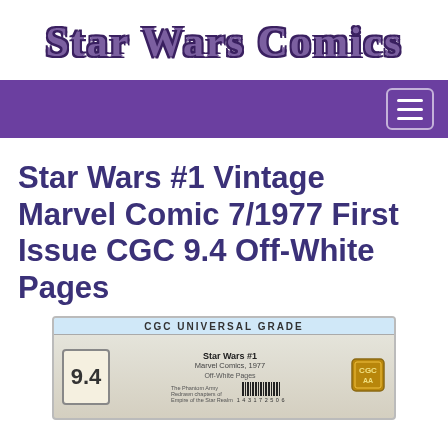Star Wars Comics
[Figure (screenshot): Purple navigation bar with hamburger menu button on the right]
Star Wars #1 Vintage Marvel Comic 7/1977 First Issue CGC 9.4 Off-White Pages
[Figure (photo): CGC Universal Grade slab showing Star Wars #1 Marvel Comics 1977 graded 9.4 with Off-White Pages label and CGC gold seal]